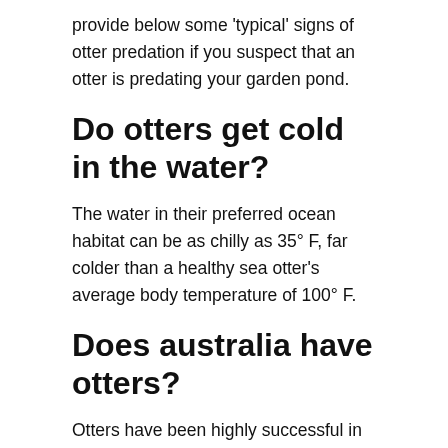provide below some 'typical' signs of otter predation if you suspect that an otter is predating your garden pond.
Do otters get cold in the water?
The water in their preferred ocean habitat can be as chilly as 35° F, far colder than a healthy sea otter's average body temperature of 100° F.
Does australia have otters?
Otters have been highly successful in making their habitats in oceans, lakes, rivers and wetlands around the world. They can be found from North to South America, Africa to Asia, and all across